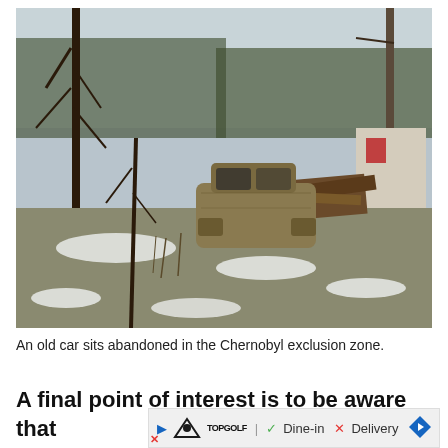[Figure (photo): An old abandoned rusted car sits in a wintry overgrown yard in the Chernobyl exclusion zone. Snow patches visible on ground, bare trees and structures in background.]
An old car sits abandoned in the Chernobyl exclusion zone.
A final point of interest is to be aware that
[Figure (screenshot): Advertisement banner: Topgolf logo with play button, checkmark Dine-in, X Delivery, blue diamond arrow navigation icon, and X close button.]